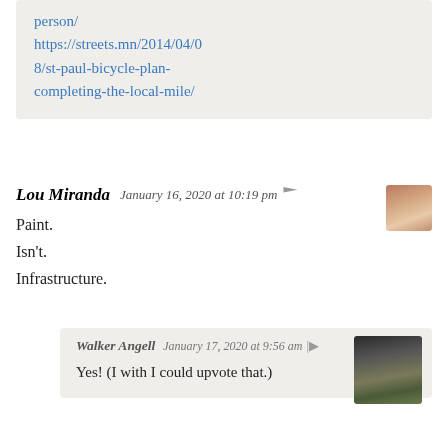person/
https://streets.mn/2014/04/08/st-paul-bicycle-plan-completing-the-local-mile/
Lou Miranda  January 16, 2020 at 10:19 pm
Paint.
Isn't.
Infrastructure.
Walker Angell  January 17, 2020 at 9:56 am
Yes! (I with I could upvote that.)